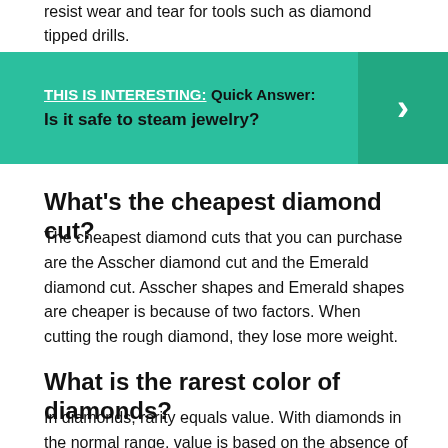resist wear and tear for tools such as diamond tipped drills.
[Figure (infographic): Teal/green banner with text: THIS IS INTERESTING: Quick Answer: Is it safe to steam jewelry? with a right-arrow chevron on a darker teal background on the right side.]
What’s the cheapest diamond cut?
The cheapest diamond cuts that you can purchase are the Asscher diamond cut and the Emerald diamond cut. Asscher shapes and Emerald shapes are cheaper is because of two factors. When cutting the rough diamond, they lose more weight.
What is the rarest color of diamonds?
In diamonds, rarity equals value. With diamonds in the normal range, value is based on the absence of color, because colorless diamonds are the rarest. With fancy color diamonds—the ones outside the normal color range—the